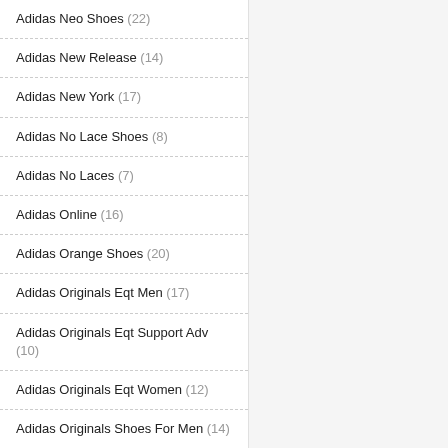Adidas Neo Shoes (22)
Adidas New Release (14)
Adidas New York (17)
Adidas No Lace Shoes (8)
Adidas No Laces (7)
Adidas Online (16)
Adidas Orange Shoes (20)
Adidas Originals Eqt Men (17)
Adidas Originals Eqt Support Adv (10)
Adidas Originals Eqt Women (12)
Adidas Originals Shoes For Men (14)
Adidas Originals Shoes Womens (23)
Adidas Originals Womens (23)
Adidas Originals Zx Flux (7)